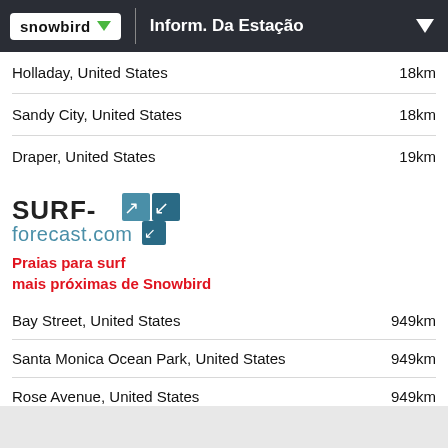snowbird | Inform. Da Estação
Holladay, United States  18km
Sandy City, United States  18km
Draper, United States  19km
[Figure (logo): SURF-forecast.com logo with wave/arrow icons]
Praias para surf mais próximas de Snowbird
Bay Street, United States  949km
Santa Monica Ocean Park, United States  949km
Rose Avenue, United States  949km
Santa Monica Pier, United States  949km
Santa Monica Jetties, United States  949km